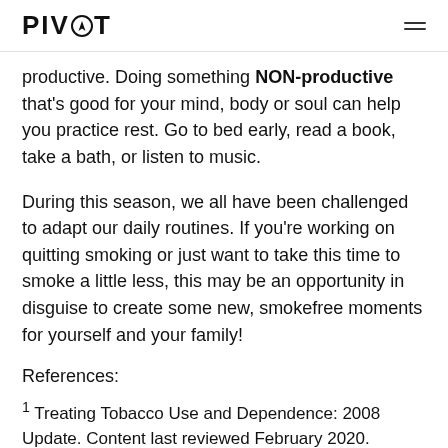PIVOT
productive. Doing something NON-productive that's good for your mind, body or soul can help you practice rest. Go to bed early, read a book, take a bath, or listen to music.
During this season, we all have been challenged to adapt our daily routines. If you're working on quitting smoking or just want to take this time to smoke a little less, this may be an opportunity in disguise to create some new, smokefree moments for yourself and your family!
References:
1 Treating Tobacco Use and Dependence: 2008 Update. Content last reviewed February 2020. Agency for Healthcare Research and Quality, Rockville, MD.